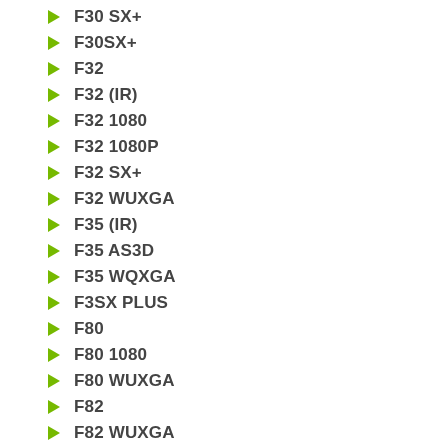F30 SX+
F30SX+
F32
F32 (IR)
F32 1080
F32 1080P
F32 SX+
F32 WUXGA
F35 (IR)
F35 AS3D
F35 WQXGA
F3SX PLUS
F80
F80 1080
F80 WUXGA
F82
F82 WUXGA